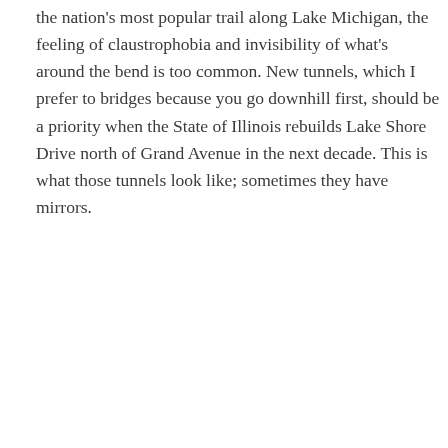the nation's most popular trail along Lake Michigan, the feeling of claustrophobia and invisibility of what's around the bend is too common. New tunnels, which I prefer to bridges because you go downhill first, should be a priority when the State of Illinois rebuilds Lake Shore Drive north of Grand Avenue in the next decade. This is what those tunnels look like; sometimes they have mirrors.